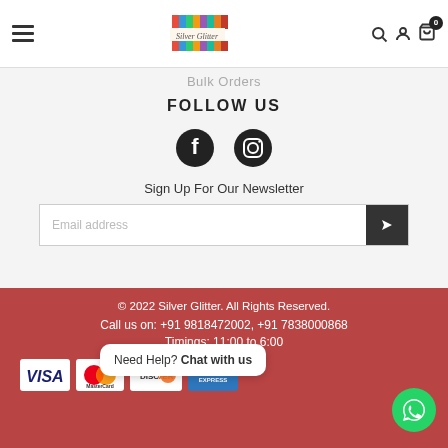Silver Glitter - Navigation header with logo, hamburger menu, search, account, and cart icons
Bulk Orders
FOLLOW US
[Figure (other): Facebook and Instagram social media icons]
Sign Up For Our Newsletter
Email address input field with submit button
© 2022 Silver Glitter. All Rights Reserved. Call us on: +91 9818472002, +91 7838000868 Timings: 11:00 to 6:00
[Figure (other): Payment method logos: VISA, MasterCard, Discover, American Express]
Need Help? Chat with us